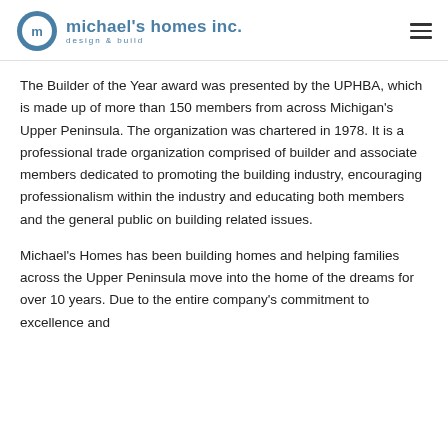michael's homes inc. design & build
The Builder of the Year award was presented by the UPHBA, which is made up of more than 150 members from across Michigan's Upper Peninsula.  The organization was chartered in 1978.  It is a professional trade organization comprised of builder and associate members dedicated to promoting the building industry, encouraging professionalism within the industry and educating both members and the general public on building related issues.
Michael's Homes has been building homes and helping families across the Upper Peninsula move into the home of the dreams for over 10 years.  Due to the entire company's commitment to excellence and